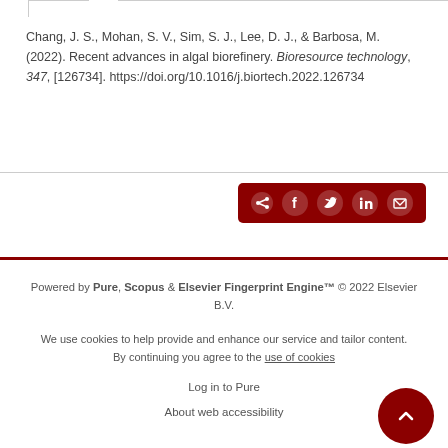Chang, J. S., Mohan, S. V., Sim, S. J., Lee, D. J., & Barbosa, M. (2022). Recent advances in algal biorefinery. Bioresource technology, 347, [126734]. https://doi.org/10.1016/j.biortech.2022.126734
[Figure (other): Dark red share bar with social media icons: share, Facebook, Twitter, LinkedIn, email]
Powered by Pure, Scopus & Elsevier Fingerprint Engine™ © 2022 Elsevier B.V.
We use cookies to help provide and enhance our service and tailor content. By continuing you agree to the use of cookies
Log in to Pure
About web accessibility